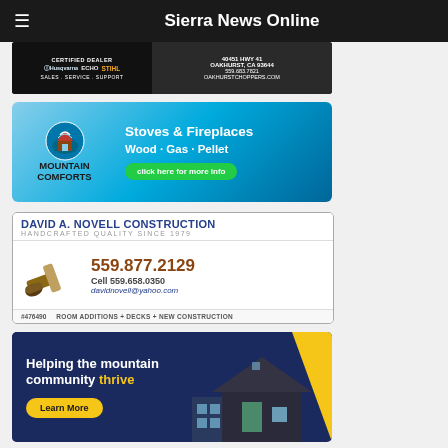Sierra News Online
[Figure (photo): Oakhurst Choppers ad - Certified Dealer for Husqvarna, Echo, Stihl. Sales, Service, Support. 40451 HWY 41, Oakhurst, CA 93644. 559.683.7821. oakhurstchoppers.com]
[Figure (photo): Mountain Comforts ad - Stoves & Fireplaces, Wood, Gas, Pellet. Click here for more info.]
[Figure (photo): David A. Novell Construction - Handcrafted Quality Since 1979. 559.877.2129, Cell 559.658.0350, davidnovell@yahoo.com. #476490. Room Additions, Decks, New Construction.]
[Figure (photo): Helping the mountain community thrive. Learn More. Community-focused advertisement.]